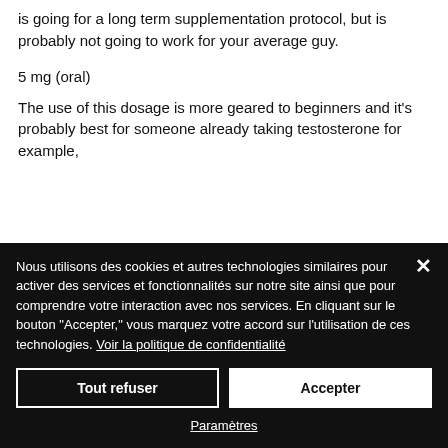is going for a long term supplementation protocol, but is probably not going to work for your average guy.
5 mg (oral)
The use of this dosage is more geared to beginners and it's probably best for someone already taking testosterone for example,
Nous utilisons des cookies et autres technologies similaires pour activer des services et fonctionnalités sur notre site ainsi que pour comprendre votre interaction avec nos services. En cliquant sur le bouton "Accepter," vous marquez votre accord sur l'utilisation de ces technologies. Voir la politique de confidentialité
Tout refuser
Accepter
Paramètres